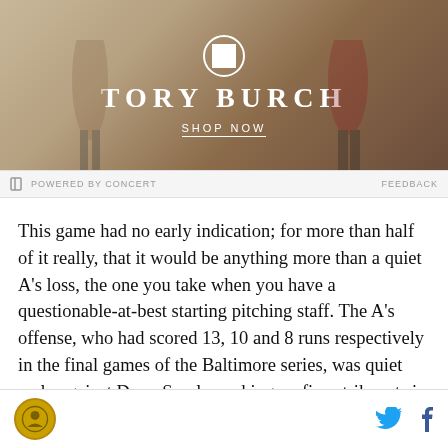[Figure (photo): Tory Burch advertisement banner showing fashion models with a logo and SHOP NOW call-to-action]
POWERED BY CONCERT    FEEDBACK
This game had no early indication; for more than half of it really, that it would be anything more than a quiet A’s loss, the one you take when you have a questionable-at-best starting pitching staff. The A’s offense, who had scored 13, 10 and 8 runs respectively in the final games of the Baltimore series, was quiet early against Drew Smyly, racking up five strikeouts in the first three innings. Texas, meanwhile, made a lot of early noise against Mike Fiers, right from the very first inning.
Site logo | Twitter icon | Facebook icon